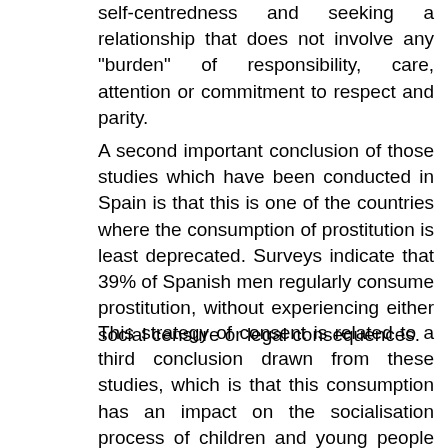self-centredness and seeking a relationship that does not involve any "burden" of responsibility, care, attention or commitment to respect and parity.
A second important conclusion of those studies which have been conducted in Spain is that this is one of the countries where the consumption of prostitution is least deprecated. Surveys indicate that 39% of Spanish men regularly consume prostitution, without experiencing either social censure or legal consequences.
This strategy of consent is related to a third conclusion drawn from these studies, which is that this consumption has an impact on the socialisation process of children and young people as regards the use of prostituted sex. The problem entailed in the socialisation that exists in our societies with respect to prostitution is that all homo- and heterosexual men are classified as potential clients once they have grown out of childhood. If this situation were to be compounded by the regulation of prostitution as a profession, we might generate socialised expectations in which girls learn that prostitution